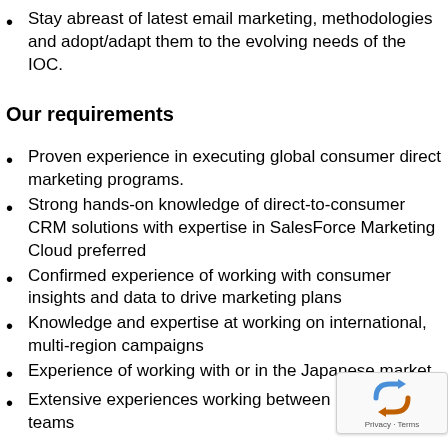Stay abreast of latest email marketing, methodologies and adopt/adapt them to the evolving needs of the IOC.
Our requirements
Proven experience in executing global consumer direct marketing programs.
Strong hands-on knowledge of direct-to-consumer CRM solutions with expertise in SalesForce Marketing Cloud preferred
Confirmed experience of working with consumer insights and data to drive marketing plans
Knowledge and expertise at working on international, multi-region campaigns
Experience of working with or in the Japanese market
Extensive experiences working between marketing & teams
...